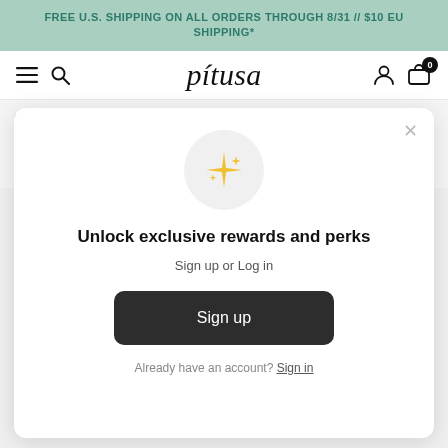FREE U.S. SHIPPING ON ALL ORDERS THROUGH 8/31 // $10 EU SHIPPING*
[Figure (logo): Pitusa brand logo in italic serif font]
QUESTIONS?
E
p
-
[Figure (illustration): Modal popup with sparkle/star emoji icon, sign up prompt]
Unlock exclusive rewards and perks
Sign up or Log in
Sign up
Already have an account? Sign in